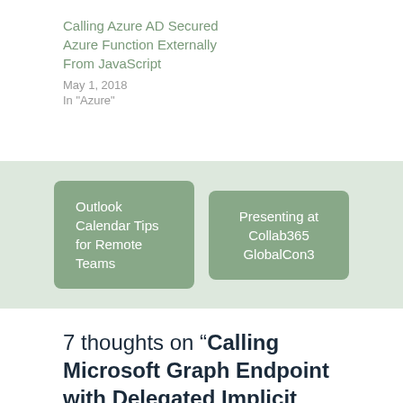Calling Azure AD Secured Azure Function Externally From JavaScript
May 1, 2018
In "Azure"
Outlook Calendar Tips for Remote Teams
Presenting at Collab365 GlobalCon3
7 thoughts on “Calling Microsoft Graph Endpoint with Delegated Implicit Authentication Does Not Include Azure AD Roles”